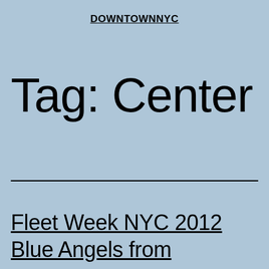DOWNTOWNNYC
Tag: Center
Fleet Week NYC 2012 Blue Angels from